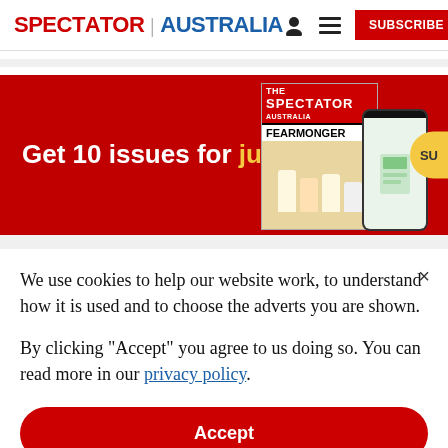SPECTATOR | AUSTRALIA
[Figure (infographic): Red advertisement banner: 'Get 10 issues for just $10' with magazine and phone mockup images and a yellow Subscribe button]
We use cookies to help our website work, to understand how it is used and to choose the adverts you are shown.
By clicking "Accept" you agree to us doing so. You can read more in our privacy policy.
Accept